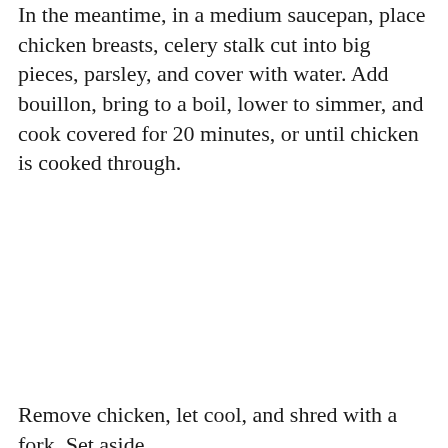In the meantime, in a medium saucepan, place chicken breasts, celery stalk cut into big pieces, parsley, and cover with water. Add bouillon, bring to a boil, lower to simmer, and cook covered for 20 minutes, or until chicken is cooked through.
Remove chicken, let cool, and shred with a fork. Set aside.